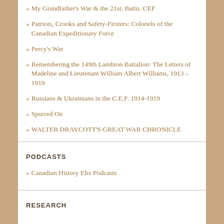» My Grandfather's War & the 21st. Battn. CEF
» Patriots, Crooks and Safety-Firsters: Colonels of the Canadian Expeditionary Force
» Percy's War
» Remembering the 149th Lambton Battalion: The Letters of Madeline and Lieutenant William Albert Williams, 1913 – 1919
» Russians & Ukrainians in the C.E.F. 1914-1919
» Spurred On
» WALTER DRAYCOTT'S GREAT WAR CHRONICLE
PODCASTS
» Canadian History Ehx Podcasts
RESEARCH